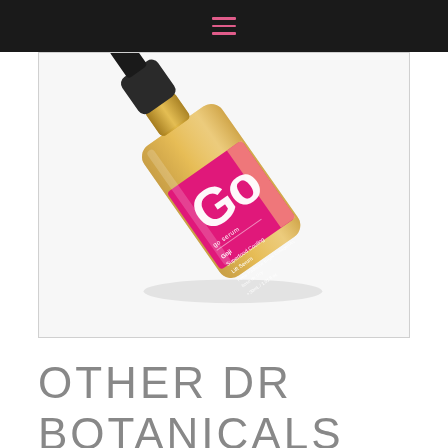≡
[Figure (photo): A bottle of Dr Botanicals Goji Superfood Cooling Lift Serum (30mL / 1.01 fl oz) with a hot pink label featuring large white 'Go' text, tilted diagonally on a white background, with a dark dropper cap.]
OTHER DR BOTANICALS